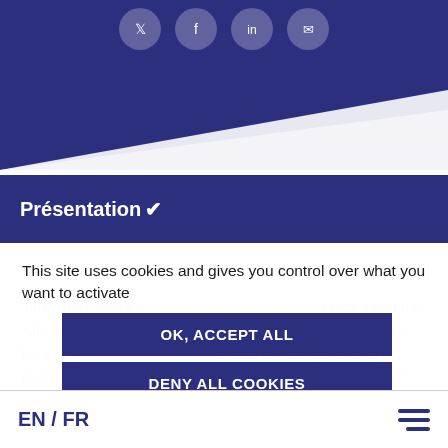[Figure (screenshot): Dark blue navigation header with four circular social media icons (partially visible at top): Twitter/X, Facebook, LinkedIn, Email. A diagonal white stripe crosses the lower portion of the header.]
Présentation ▾
This site uses cookies and gives you control over what you want to activate
OK, ACCEPT ALL
DENY ALL COOKIES
PERSONALIZE
Television series a...ercial asset for African TV channe...uously successful amongst a loyal vi...e to advertisers, are today much so...asters, and are a strong factor in ch...ced locally, these
EN / FR  ☰